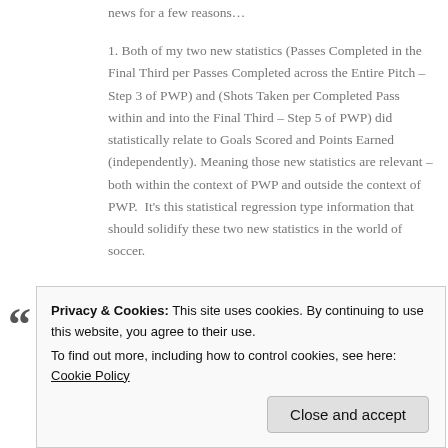news for a few reasons…
1. Both of my two new statistics (Passes Completed in the Final Third per Passes Completed across the Entire Pitch – Step 3 of PWP) and (Shots Taken per Completed Pass within and into the Final Third – Step 5 of PWP) did statistically relate to Goals Scored and Points Earned (independently). Meaning those new statistics are relevant – both within the context of PWP and outside the context of PWP. It's this statistical regression type information that should solidify these two new statistics in the world of soccer.
2. For both Possession (Step 6 of PWP) and Passing Accuracy (Step 5 of PWP) – as you will see a bit later – those two derived data points were never supposed to directly (independently) relate to goals scored or points earned as a
opponent's final third, take shots based upon that penetration
Privacy & Cookies: This site uses cookies. By continuing to use this website, you agree to their use. To find out more, including how to control cookies, see here: Cookie Policy